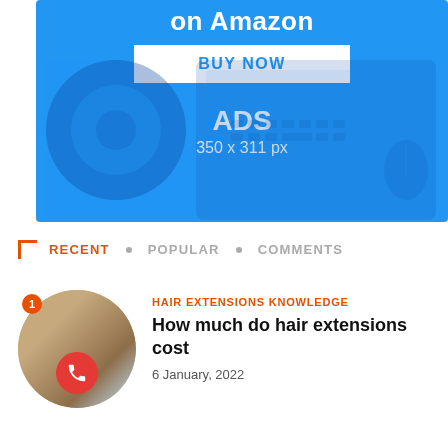[Figure (infographic): Blue advertisement banner with 'on Amazon' text, a white BUY NOW button, and 'ADS 350 x 311 px' label. Background shows headphones, keyboard, and mouse in blue tones.]
RECENT • POPULAR • COMMENTS
[Figure (photo): Circular thumbnail photo of a blonde woman, with a badge '1' and a red phone icon overlay]
HAIR EXTENSIONS KNOWLEDGE
How much do hair extensions cost
6 January, 2022